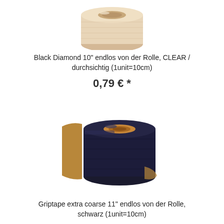[Figure (photo): A roll of clear/transparent grip tape (Black Diamond 10 inch) seen from the side, beige/tan colored roll]
Black Diamond 10" endlos von der Rolle, CLEAR / durchsichtig (1unit=10cm)
0,79 € *
[Figure (photo): A roll of black grip tape (Griptape extra coarse 11 inch) seen from the side, dark navy/black with brown paper backing]
Griptape extra coarse 11" endlos von der Rolle, schwarz (1unit=10cm)